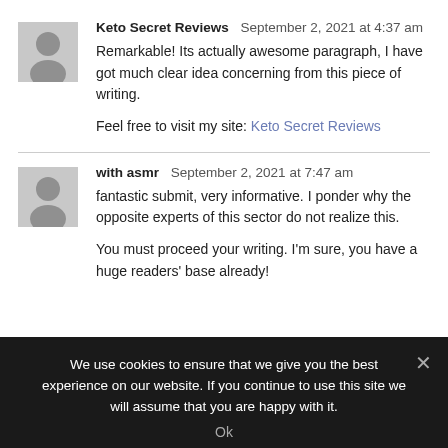Keto Secret Reviews  September 2, 2021 at 4:37 am
Remarkable! Its actually awesome paragraph, I have got much clear idea concerning from this piece of writing.
Feel free to visit my site: Keto Secret Reviews
with asmr  September 2, 2021 at 7:47 am
fantastic submit, very informative. I ponder why the opposite experts of this sector do not realize this.
You must proceed your writing. I'm sure, you have a huge readers' base already!
We use cookies to ensure that we give you the best experience on our website. If you continue to use this site we will assume that you are happy with it.
Ok